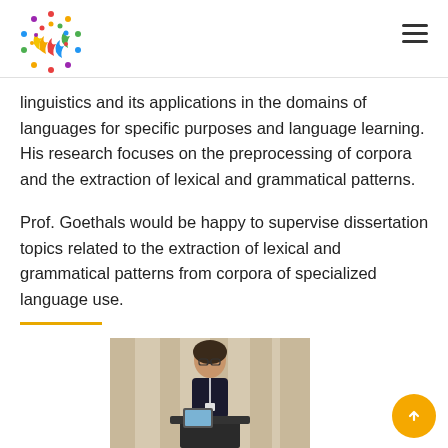[Figure (logo): Colorful circular logo with people figures and flame-like design, representing a multilingual or education organization]
linguistics and its applications in the domains of languages for specific purposes and language learning. His research focuses on the preprocessing of corpora and the extraction of lexical and grammatical patterns.
Prof. Goethals would be happy to supervise dissertation topics related to the extraction of lexical and grammatical patterns from corpora of specialized language use.
[Figure (photo): A woman with glasses standing at a podium or lectern, presenting at a conference, wearing a dark outfit with a lanyard]